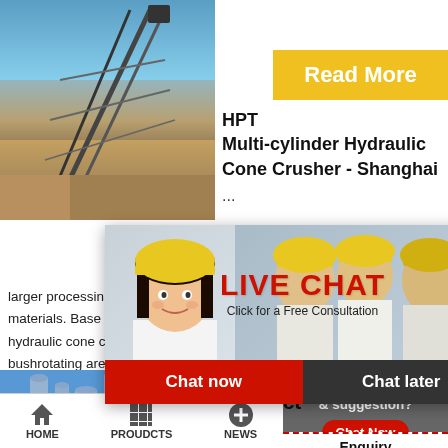[Figure (photo): Mining conveyor belt / industrial equipment against sky background]
[Figure (photo): Button with yellow background reading Read More]
HPT Multi-cylinder Hydraulic Cone Crusher - Shanghai
...
[Figure (photo): Red banner with text '4Hrs Online']
larger processing materials. Base hydraulic cone bushrotating are d
[Figure (photo): Live Chat overlay popup with people in hard hats, red LIVE CHAT text, Chat now and Chat later buttons]
[Figure (photo): Customer service representative with headset]
[Figure (photo): Industrial facility / factory image]
Product
[Figure (infographic): Need questions & suggestion? Chat Now button, Enquiry text, limingjlmofen text in sidebar]
HOME   PROUDCTS   NEWS